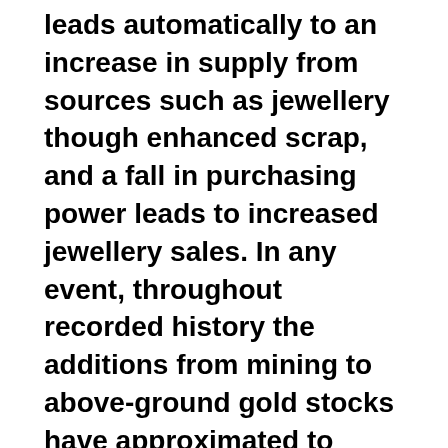leads automatically to an increase in supply from sources such as jewellery though enhanced scrap, and a fall in purchasing power leads to increased jewellery sales. In any event, throughout recorded history the additions from mining to above-ground gold stocks have approximated to population growth, making gold for money purposes no less scarce today than it was in the past.
This flexibility in the supply of monetary gold and the stability of prices allows the originary rate of interest to be both low and stable. It allows entrepreneurs to do business calculations with a high degree of certainty,